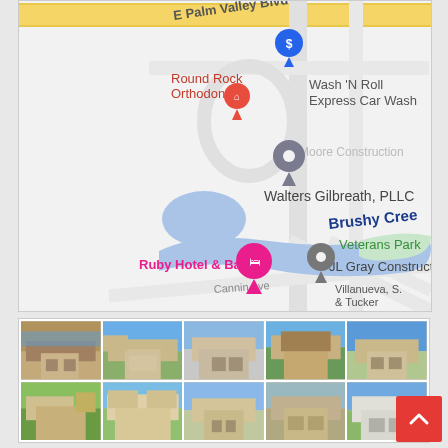[Figure (map): Google Maps view showing E Palm Valley Blvd area in Round Rock, Texas. Landmarks visible: Round Rock Orthodontics (red pin), a bank pin (blue dollar sign), Wash 'N Roll Express Car Wash, Moore Construction, Walters Gilbreath PLLC, Brushy Creek (blue water body), Veterans Park (green area), JL Gray Construction (gray pin), Ruby Hotel & Bar (pink pin), Villanueva S. & Tucker, Cannin Ave. Roads and water features visible.]
[Figure (photo): Grid of 10 house exterior photos showing residential properties, brick and stone homes with garages and front yards.]